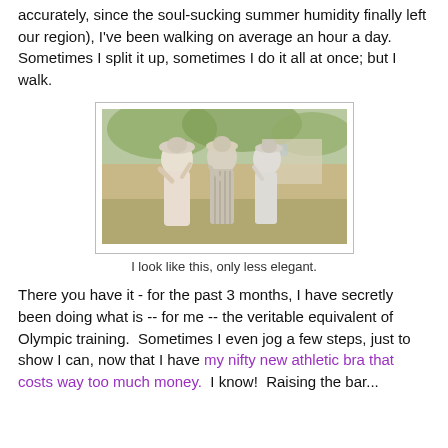accurately, since the soul-sucking summer humidity finally left our region), I've been walking on average an hour a day. Sometimes I split it up, sometimes I do it all at once; but I walk.
[Figure (photo): Three women in early 20th century white/light dresses and hats standing outdoors in a garden or park setting, resembling a period drama scene.]
I look like this, only less elegant.
There you have it - for the past 3 months, I have secretly been doing what is -- for me -- the veritable equivalent of Olympic training.  Sometimes I even jog a few steps, just to show I can, now that I have my nifty new athletic bra that costs way too much money.  I know!  Raising the bar...